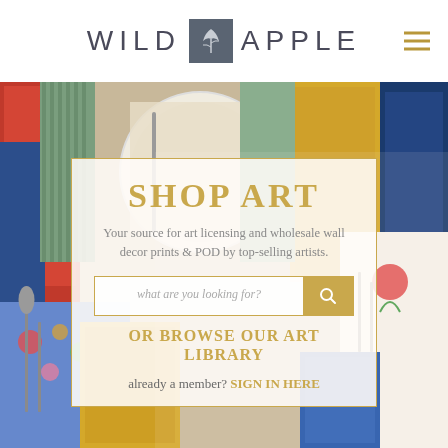[Figure (logo): Wild Apple logo with tree icon between the words WILD and APPLE, and a hamburger menu icon on the right]
[Figure (photo): Background photo collage of colorful art prints and table settings with plates, forks, spoons, and patterned placemats in various colors including red, blue, yellow, green, and floral patterns]
SHOP ART
Your source for art licensing and wholesale wall decor prints & POD by top-selling artists.
what are you looking for?
OR BROWSE OUR ART LIBRARY
already a member? SIGN IN HERE